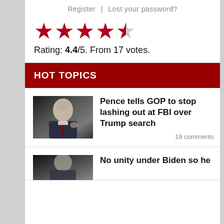Register | Lost your password?
[Figure (other): Star rating widget showing 4.4 out of 5 stars (4 full red stars and 1 half red/grey star)]
Rating: 4.4/5. From 17 votes.
HOT TOPICS
[Figure (photo): Photo of Mike Pence speaking, gesturing with his fist, wearing a suit and red tie]
Pence tells GOP to stop lashing out at FBI over Trump search
19 comments
[Figure (photo): Photo of Joe Biden]
No unity under Biden so he